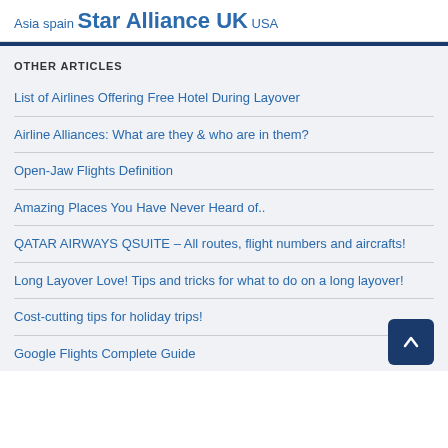Asia spain Star Alliance UK USA
OTHER ARTICLES
List of Airlines Offering Free Hotel During Layover
Airline Alliances: What are they & who are in them?
Open-Jaw Flights Definition
Amazing Places You Have Never Heard of..
QATAR AIRWAYS QSUITE – All routes, flight numbers and aircrafts!
Long Layover Love! Tips and tricks for what to do on a long layover!
Cost-cutting tips for holiday trips!
Google Flights Complete Guide